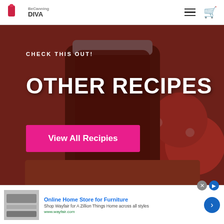BeCanning DIVA — navigation bar with logo, hamburger menu, cart icon
[Figure (illustration): Hero banner with food photo background (mason jar with dark sauce, tomatoes, cutting board) overlaid with dark red tint. Text overlay: CHECK THIS OUT! / OTHER RECIPES / View All Recipies button in pink.]
CHECK THIS OUT!
OTHER RECIPES
View All Recipies
[Figure (photo): Advertisement banner: Online Home Store for Furniture - Shop Wayfair for A Zillion Things Home across all styles - www.wayfair.com with close button and arrow button]